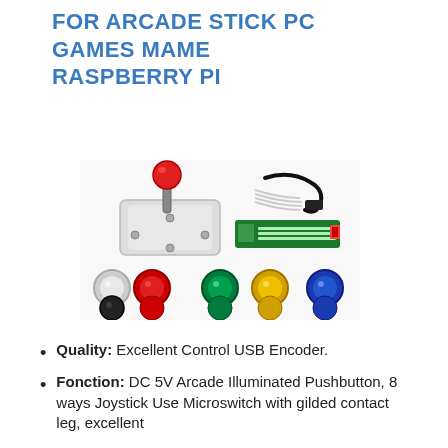FOR ARCADE STICK PC GAMES MAME RASPBERRY PI
[Figure (photo): Product photo showing an arcade joystick with red ball top, a USB encoder board, colored LEDs/wires, and eight illuminated arcade pushbuttons in various colors (white, red, green, yellow, blue)]
Quality: Excellent Control USB Encoder.
Fonction: DC 5V Arcade Illuminated Pushbutton, 8 ways Joystick Use Microswitch with gilded contact leg, excellent